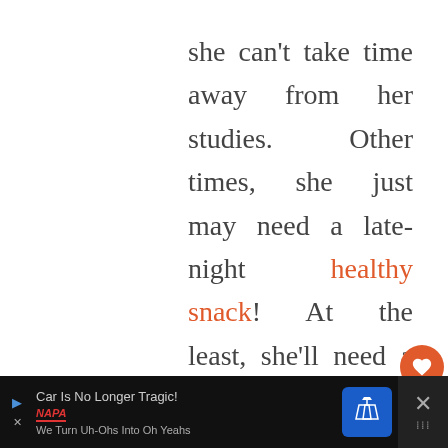she can't take time away from her studies. Other times, she just may need a late-night healthy snack! At the least, she'll need a few cups, plates, bowls, and utensils. Pick up
[Figure (other): UI elements: heart/like button (orange circle with heart icon), count '1', and share button]
[Figure (other): Advertisement banner: 'Car Is No Longer Tragic! We Turn Uh-Ohs Into Oh Yeahs' with NAPA auto parts branding, navigation icon, and close button]